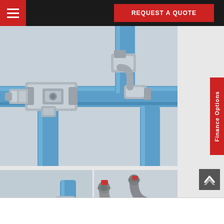REQUEST A QUOTE
[Figure (photo): Large photo of metallic push-fit pipe fittings (T-connectors, elbow connectors) on blue compressed air pipes, silver finish fittings with blue tubing]
[Figure (photo): Smaller photo of metallic push-fit pipe fittings T-connector on blue pipes]
[Figure (photo): Engineering diagram/render of grey pipe fittings with red accents on blue pipes, multiple connectors and elbows shown]